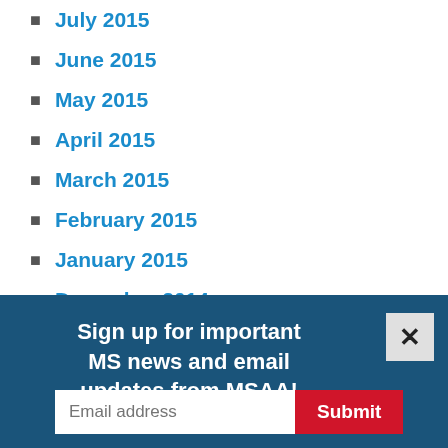July 2015
June 2015
May 2015
April 2015
March 2015
February 2015
January 2015
December 2014
November 2014
October 2014
September 2014
Sign up for important MS news and email updates from MSAA!